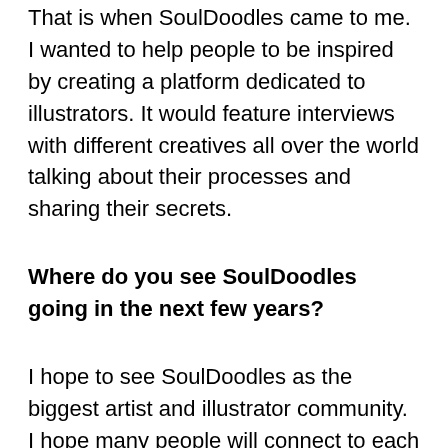That is when SoulDoodles came to me. I wanted to help people to be inspired by creating a platform dedicated to illustrators. It would feature interviews with different creatives all over the world talking about their processes and sharing their secrets.
Where do you see SoulDoodles going in the next few years?
I hope to see SoulDoodles as the biggest artist and illustrator community. I hope many people will connect to each other and express their feelings during the process of improving and